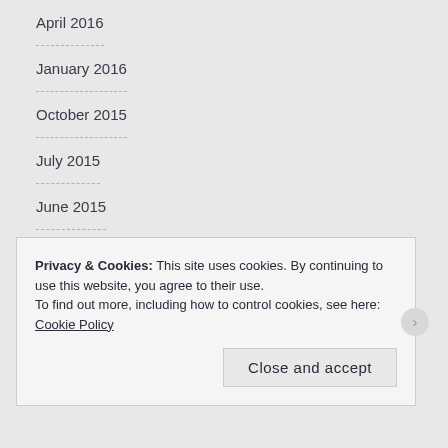April 2016
January 2016
October 2015
July 2015
June 2015
March 2015
February 2015
December 2014
November 2014
Privacy & Cookies: This site uses cookies. By continuing to use this website, you agree to their use.
To find out more, including how to control cookies, see here: Cookie Policy
Close and accept